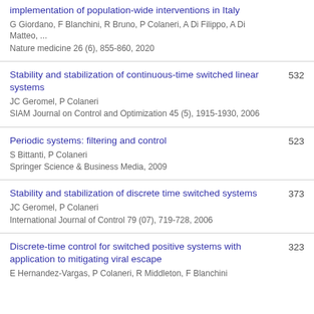implementation of population-wide interventions in Italy
G Giordano, F Blanchini, R Bruno, P Colaneri, A Di Filippo, A Di Matteo, ...
Nature medicine 26 (6), 855-860, 2020
Stability and stabilization of continuous-time switched linear systems
JC Geromel, P Colaneri
SIAM Journal on Control and Optimization 45 (5), 1915-1930, 2006
532
Periodic systems: filtering and control
S Bittanti, P Colaneri
Springer Science & Business Media, 2009
523
Stability and stabilization of discrete time switched systems
JC Geromel, P Colaneri
International Journal of Control 79 (07), 719-728, 2006
373
Discrete-time control for switched positive systems with application to mitigating viral escape
E Hernandez-Vargas, P Colaneri, R Middleton, F Blanchini
323